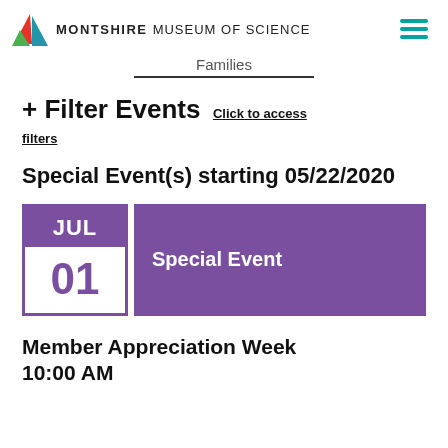MONTSHIRE MUSEUM OF SCIENCE
Families
+ Filter Events Click to access filters
Special Event(s) starting 05/22/2020
[Figure (infographic): Calendar event card with JUL / 01 date box in purple and 'Special Event' label on purple banner]
Member Appreciation Week
10:00 AM